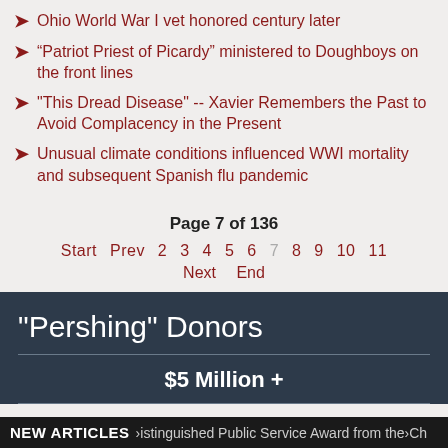Ohio World War I vet honored century later
“Patriot Priest of Picardy” ministered to Doughboys on the front lines
"This Dread Disease" -- Xavier Remembers the Past to Avoid Complacency in the Present
Unusual climate conditions influenced WWI mortality and subsequent Spanish flu pandemic
Page 7 of 136
Start  Prev  2  3  4  5  6  7  8  9  10  11
Next  End
"Pershing" Donors
$5 Million +
NEW ARTICLES   Distinguished Public Service Award from the Ch